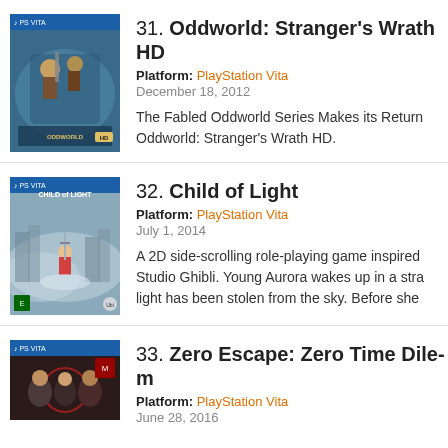[Figure (illustration): PS Vita game cover for Oddworld: Stranger's Wrath HD showing fantasy warriors]
31. Oddworld: Stranger's Wrath HD
Platform: PlayStation Vita
December 18, 2012
The Fabled Oddworld Series Makes its Return... Oddworld: Stranger's Wrath HD.
[Figure (illustration): PS Vita game cover for Child of Light showing a child with a sword in a foggy castle landscape]
32. Child of Light
Platform: PlayStation Vita
July 1, 2014
A 2D side-scrolling role-playing game inspired by Studio Ghibli. Young Aurora wakes up in a strange world where light has been stolen from the sky. Before she...
[Figure (illustration): PS Vita game cover for Zero Escape: Zero Time Dilemma showing characters]
33. Zero Escape: Zero Time Dilemma
Platform: PlayStation Vita
June 28, 2016